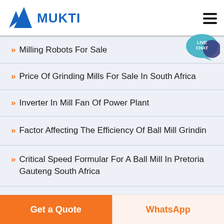MUKTI
Milling Robots For Sale
Price Of Grinding Mills For Sale In South Africa
Inverter In Mill Fan Of Power Plant
Factor Affecting The Efficiency Of Ball Mill Grindin
Critical Speed Formular For A Ball Mill In Pretoria Gauteng South Africa